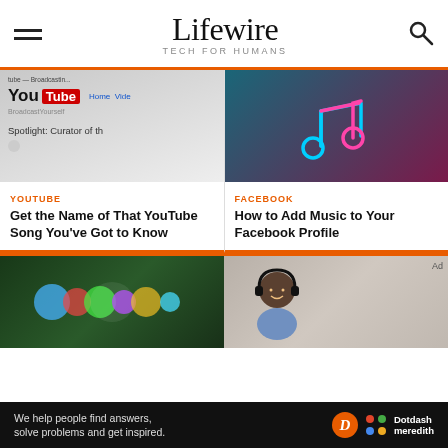Lifewire — TECH FOR HUMANS
[Figure (screenshot): YouTube website screenshot showing YouTube logo and 'Spotlight: Curator of th...' text]
[Figure (illustration): Neon music note illustration on dark teal/purple gradient background]
YOUTUBE
Get the Name of That YouTube Song You've Got to Know
FACEBOOK
How to Add Music to Your Facebook Profile
[Figure (screenshot): Siri voice waveform on dark green background]
[Figure (photo): Man wearing headphones and smiling while using a laptop]
We help people find answers, solve problems and get inspired.
[Figure (logo): Dotdash Meredith logo]